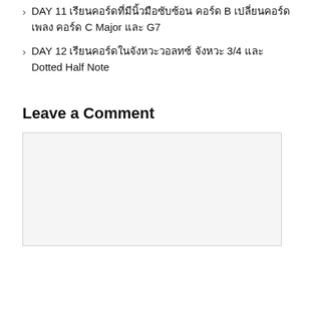› DAY 11 เรียนคอร์ดที่มีนิ้วมือซับซ้อน คอร์ด B เปลี่ยนคอร์ดเพลง คอร์ด C Major และ G7
› DAY 12 เรียนคอร์ดในจังหวะวอลทซ์ จังหวะ 3/4 และ Dotted Half Note
Leave a Comment
[comment input box]